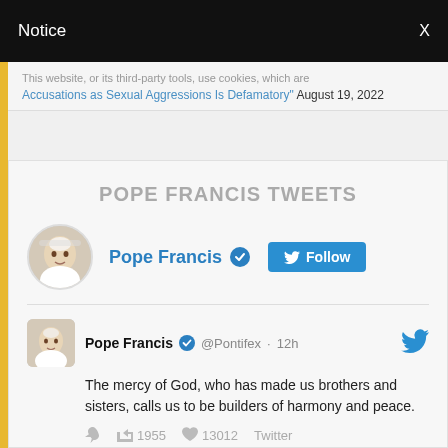Notice  X
Accusations as Sexual Aggressions Is Defamatory" August 19, 2022
POPE FRANCIS TWEETS
Pope Francis @Pontifex · 12h
The mercy of God, who has made us brothers and sisters, calls us to be builders of harmony and peace.
↩ ↻1955 ♥13012 Twitter